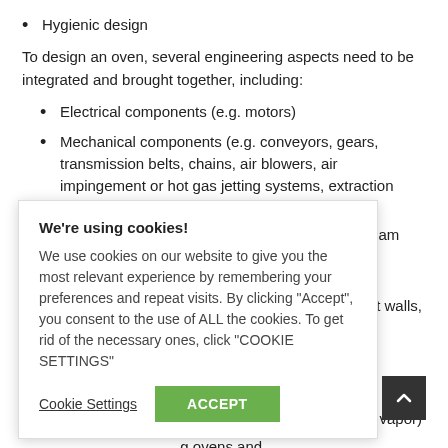Hygienic design
To design an oven, several engineering aspects need to be integrated and brought together, including:
Electrical components (e.g. motors)
Mechanical components (e.g. conveyors, gears, transmission belts, chains, air blowers, air impingement or hot gas jetting systems, extraction systems)
Thermal components (e.g. heat exchangers, steam generation, …terials to minimize
…equipment walls,
…l water vapor)
…g ovens and testing their performance. Knowing the total radiant and convective
[Figure (other): Cookie consent overlay popup with title 'We're using cookies!', body text explaining cookie use, and buttons: 'Cookie Settings' (underlined text) and 'ACCEPT' (green button)]
[Figure (other): Scroll-to-top button (dark rounded square with upward chevron arrow)]